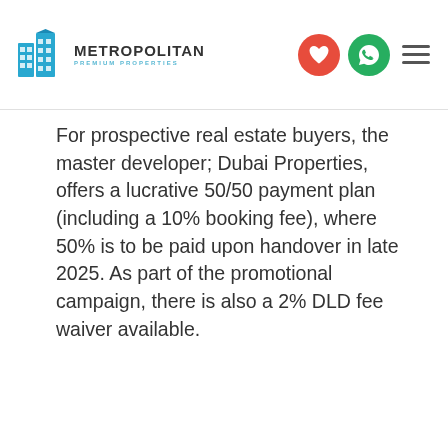Metropolitan Premium Properties
For prospective real estate buyers, the master developer; Dubai Properties, offers a lucrative 50/50 payment plan (including a 10% booking fee), where 50% is to be paid upon handover in late 2025. As part of the promotional campaign, there is also a 2% DLD fee waiver available.